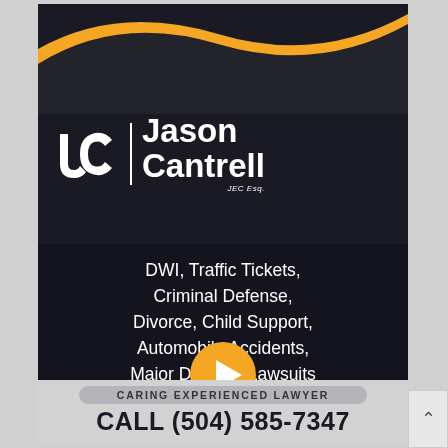[Figure (logo): Jason Cantrell JC monogram logo with swoosh design on dark background]
Jason Cantrell
JEC Esq.
DWI, Traffic Tickets, Criminal Defense, Divorce, Child Support, Automobile Accidents, Major Disaster Lawsuits
[Figure (illustration): Orange circular play button]
CARING EXPERIENCED LAWYER
CALL (504) 585-7347